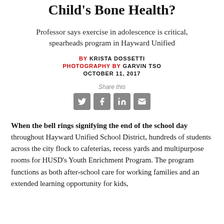Child's Bone Health?
Professor says exercise in adolescence is critical, spearheads program in Hayward Unified
BY KRISTA DOSSETTI
PHOTOGRAPHY BY GARVIN TSO
OCTOBER 11, 2017
Share this
[Figure (infographic): Social share icons: Twitter, Facebook, LinkedIn, Email]
When the bell rings signifying the end of the school day throughout Hayward Unified School District, hundreds of students across the city flock to cafeterias, recess yards and multipurpose rooms for HUSD's Youth Enrichment Program. The program functions as both after-school care for working families and an extended learning opportunity for kids,